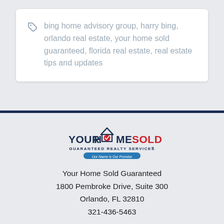bing home advisory group, harry bing, orlando real estate, your home sold guaranteed, florida real estate, real estate tips and updates
[Figure (logo): Your Home Sold Guaranteed Realty Services logo with house icon and tagline 'Our Name is Our Promise']
Your Home Sold Guaranteed
1800 Pembroke Drive, Suite 300
Orlando, FL 32810
321-436-5463